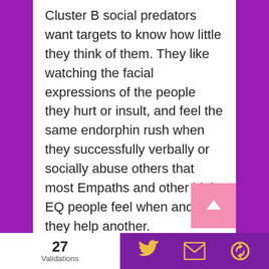Cluster B social predators want targets to know how little they think of them. They like watching the facial expressions of the people they hurt or insult, and feel the same endorphin rush when they successfully verbally or socially abuse others that most Empaths and other high EQ people feel when and if they help another.
The socially aggressive, vertical thinker never “just” does or says anything. They are method actors, constantly calculating and scheming in every social setting to win or to gain a
27 Validations